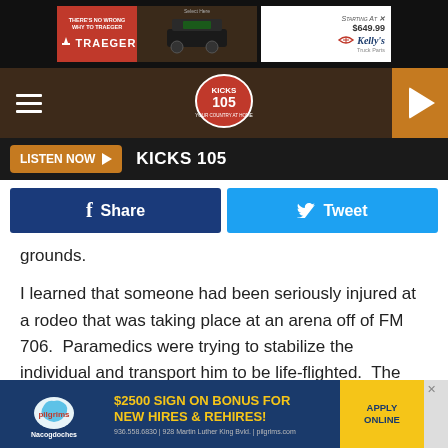[Figure (screenshot): Top advertisement banner showing Traeger grills ad on left and Kelly's Truck Parts ad on right with 'Starting At $649.99' text]
[Figure (screenshot): Navigation bar with hamburger menu, Kicks 105 radio logo in center, and orange play button on right]
[Figure (screenshot): Listen Now button bar with orange 'LISTEN NOW ▶' button and 'KICKS 105' text on black background]
[Figure (screenshot): Social sharing buttons: blue Facebook Share button and light blue Twitter Tweet button]
grounds.
I learned that someone had been seriously injured at a rodeo that was taking place at an arena off of FM 706.  Paramedics were trying to stabilize the individual and transport him to be life-flighted.  The Hudson parking lot was the nearest and safest place that the helicopter could land.
[Figure (screenshot): Advertisement for Pilgrim's Nacogdoches: $2500 Sign On Bonus For New Hires & Rehires! Apply Online. 936.558.6830 | 928 Martin Luther King Bvld. | pilgrims.com]